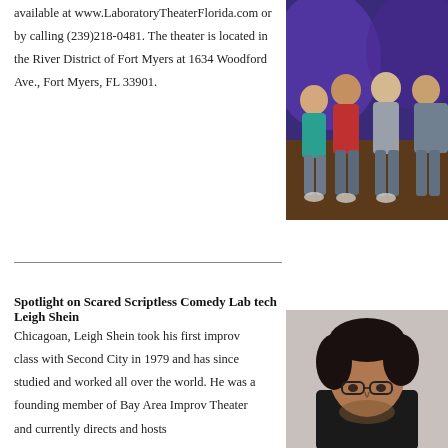available at www.LaboratoryTheaterFlorida.com or by calling (239)218-0481. The theater is located in the River District of Fort Myers at 1634 Woodford Ave., Fort Myers, FL 33901.
[Figure (photo): Group photo of four young people standing on a theater stage with purple lighting behind them.]
Spotlight on Scared Scriptless Comedy Lab tech Leigh Shein
Chicagoan, Leigh Shein took his first improv class with Second City in 1979 and has since studied and worked all over the world. He was a founding member of Bay Area Improv Theater and currently directs and hosts
[Figure (photo): Portrait photo of a man with dark curly hair and glasses, looking downward.]